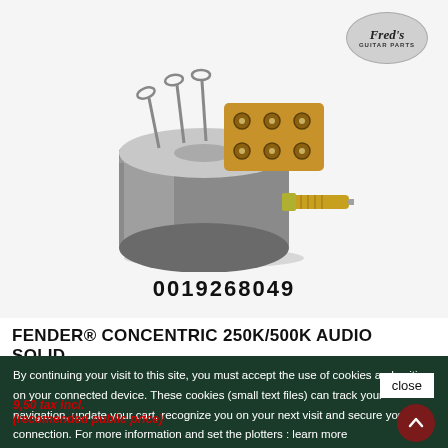[Figure (photo): A Fender concentric potentiometer (pot) guitar part — metallic cylindrical body with a threaded brass shaft, terminal lugs, and a brown phenolic wafer mounting plate. Fred's Guitar Parts logo (oval shape) visible in top right corner of the product image area.]
0019268049
FENDER® CONCENTRIC 250K/500K AUDIO SOLID...
By continuing your visit to this site, you must accept the use of cookies and writing on your connected device. These cookies (small text files) can track your navigation, update your cart, recognize you on your next visit and secure your connection. For more information and set the plotters : learn more
close
9.50 tax incl.
(recomended public price)